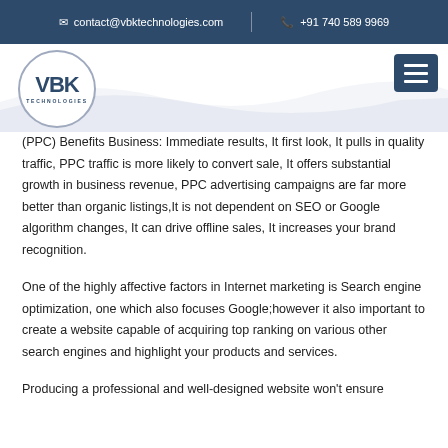contact@vbktechnologies.com  |  +91 740 589 9969
[Figure (logo): VBK Technologies circular logo with VBK text and TECHNOLOGIES label]
(PPC) Benefits Business: Immediate results, It first look, It pulls in quality traffic, PPC traffic is more likely to convert sale, It offers substantial growth in business revenue, PPC advertising campaigns are far more better than organic listings,It is not dependent on SEO or Google algorithm changes, It can drive offline sales, It increases your brand recognition.
One of the highly affective factors in Internet marketing is Search engine optimization, one which also focuses Google;however it also important to create a website capable of acquiring top ranking on various other search engines and highlight your products and services.
Producing a professional and well-designed website won't ensure